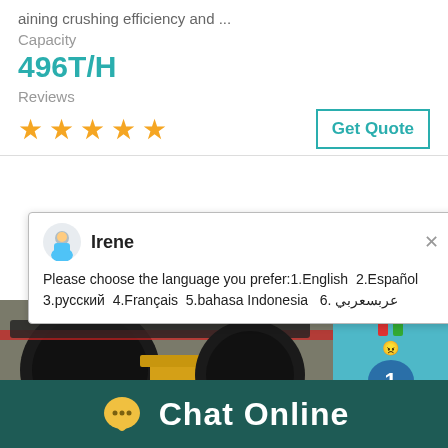aining crushing efficiency and ...
Capacity
496T/H
Reviews
[Figure (other): Five orange star rating icons]
[Figure (screenshot): Chat popup with agent Irene asking to choose language: 1.English 2.Español 3.русский 4.Français 5.bahasa Indonesia 6. عربسعربي]
[Figure (photo): Industrial crushing machine with red and black belt pulleys, yellow frame, photographed in factory setting]
[Figure (screenshot): Blue chat widget panel on the right side showing badge number 1, Click me to chat button, and Enquiry label]
Chat Online